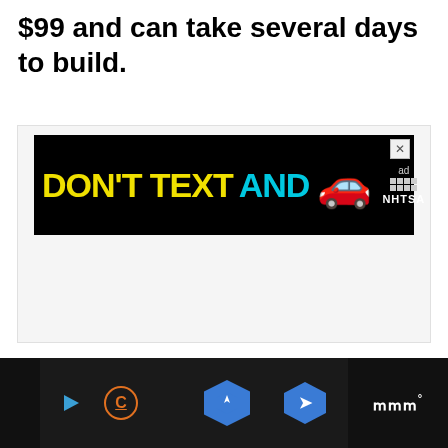$99 and can take several days to build.
[Figure (screenshot): Advertisement banner: DON'T TEXT AND [car emoji] with NHTSA logo on black background, with close button (X) in top right corner]
[Figure (screenshot): Bottom navigation/media player bar in dark theme with play button, C icon (with orange underline), blue hexagonal navigation arrow, and Waze-style logo on right panel]